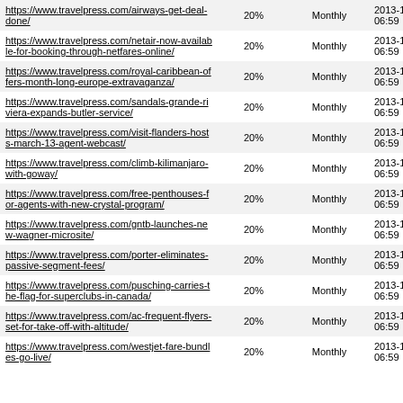| URL | Score | Frequency | Date |
| --- | --- | --- | --- |
| https://www.travelpress.com/airways-get-deal-done/ | 20% | Monthly | 2013-11-06 06:59 |
| https://www.travelpress.com/netair-now-available-for-booking-through-netfares-online/ | 20% | Monthly | 2013-11-06 06:59 |
| https://www.travelpress.com/royal-caribbean-offers-month-long-europe-extravaganza/ | 20% | Monthly | 2013-11-06 06:59 |
| https://www.travelpress.com/sandals-grande-riviera-expands-butler-service/ | 20% | Monthly | 2013-11-06 06:59 |
| https://www.travelpress.com/visit-flanders-hosts-march-13-agent-webcast/ | 20% | Monthly | 2013-11-06 06:59 |
| https://www.travelpress.com/climb-kilimanjaro-with-goway/ | 20% | Monthly | 2013-11-06 06:59 |
| https://www.travelpress.com/free-penthouses-for-agents-with-new-crystal-program/ | 20% | Monthly | 2013-11-06 06:59 |
| https://www.travelpress.com/gntb-launches-new-wagner-microsite/ | 20% | Monthly | 2013-11-06 06:59 |
| https://www.travelpress.com/porter-eliminates-passive-segment-fees/ | 20% | Monthly | 2013-11-06 06:59 |
| https://www.travelpress.com/pusching-carries-the-flag-for-superclubs-in-canada/ | 20% | Monthly | 2013-11-06 06:59 |
| https://www.travelpress.com/ac-frequent-flyers-set-for-take-off-with-altitude/ | 20% | Monthly | 2013-11-06 06:59 |
| https://www.travelpress.com/westjet-fare-bundles-go-live/ | 20% | Monthly | 2013-11-06 06:59 |